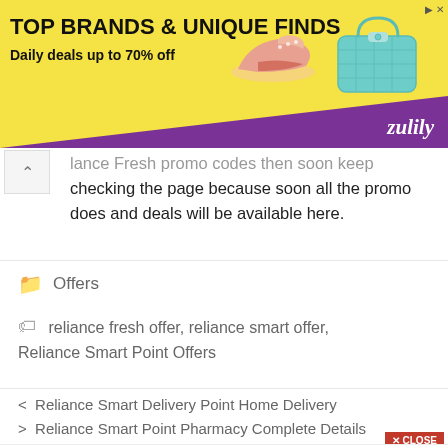[Figure (screenshot): Zulily advertisement banner: yellow background with text 'TOP BRANDS & UNIQUE FINDS' and 'Daily deals up to 70% off', shoe and bag images, purple corner, Zulily logo]
lance Fresh promo codes then soon keep checking the page because soon all the promo does and deals will be available here.
Offers
reliance fresh offer, reliance smart offer, Reliance Smart Point Offers
< Reliance Smart Delivery Point Home Delivery
> Reliance Smart Point Pharmacy Complete Details
[Figure (screenshot): Walgreens/GSK advertisement: Walgreens logo, 'GSK Pain Relief For You', 'Walgreens Photo', blue diamond arrow icon]